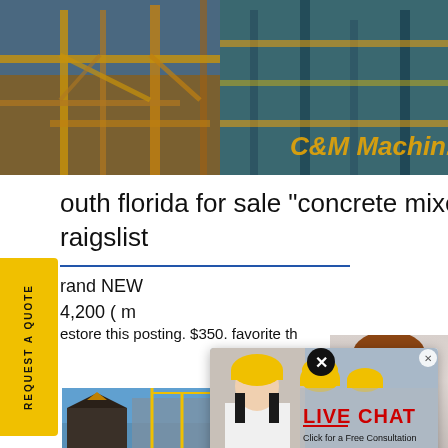[Figure (photo): Construction scaffolding/machinery banner image with 'C&M Machinery' text overlay in gold italic]
outh florida for sale "concrete mixer" -
raigslist
rand NEW
4,200 ( m
estore this posting. $350. favorite th
[Figure (screenshot): Live chat popup with workers in hard hats image, 'LIVE CHAT' in red, 'Click for a Free Consultation', 'Chat now' red button and 'Chat later' dark button]
[Figure (photo): Customer service agent woman with headset smiling]
[Figure (infographic): Blue panel with 'Have any requests, click here.' in white italic bold text and gold 'Quotation' button]
[Figure (photo): Building/construction site photo at bottom left]
REQUEST A QUOTE